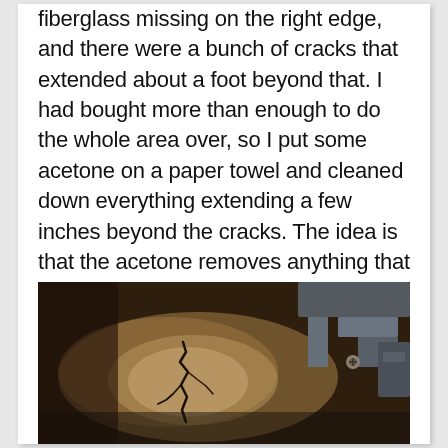fiberglass missing on the right edge, and there were a bunch of cracks that extended about a foot beyond that. I had bought more than enough to do the whole area over, so I put some acetone on a paper towel and cleaned down everything extending a few inches beyond the cracks. The idea is that the acetone removes anything that would prevent a good bond from forming.
[Figure (photo): Photo of cracked fiberglass surface shot from below, showing a jagged crack pattern against a dark brown/tan background, with metal structural elements visible at the top right.]